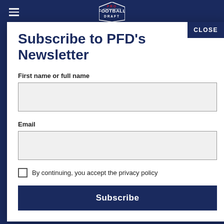[Figure (logo): Pro Football Draft logo in the top navigation bar]
CLOSE
Subscribe to PFD's Newsletter
First name or full name
Email
By continuing, you accept the privacy policy
Subscribe